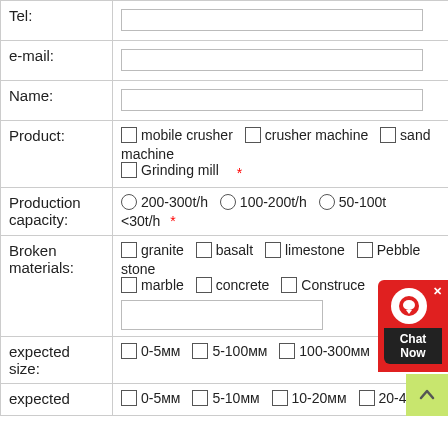| Field | Input |
| --- | --- |
| Tel: |  |
| e-mail: |  |
| Name: |  |
| Product: | ☐ mobile crusher  ☐ crusher machine  ☐ sand machine
☐ Grinding mill  * |
| Production capacity: | ○ 200-300t/h  ○ 100-200t/h  ○ 50-100t  <30t/h  * |
| Broken materials: | ☐ granite  ☐ basalt  ☐ limestone  ☐ Pebble stone
☐ marble  ☐ concrete  ☐ Construction waste  [text input] |
| expected size: | ☐ 0-5мм  ☐ 5-100мм  ☐ 100-300мм  ☐ 300... |
| expected | ☐ 0-5мм  ☐ 5-10мм  ☐ 10-20мм  ☐ 20-40мм |